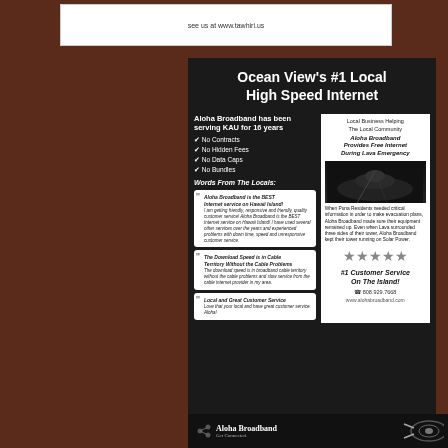see us at www.tawhiri.us
Ocean View's #1 Local High Speed Internet
Aloha Broadband has been serving KAU for 16 years
No Contracts
No Hidden Fees
No Data Caps
No Bundles
Words From The Locals:
Aloha Broadband is the BEST Internet service on Hawaii Island! I am getting friendly, responsive and friendly, quality customer service! Aloha Broadband is the BEST Internet service on Hawaii Island! I have used several other services over the years and experienced problems with down time, speed and unresponsive customer service.
The Download Speed is in Cable Territory Without the Cable Problems. The download speed is in broadband cable territory without the cable problems and slow service from the cable internet provider in my area.
Local and Great Customer Service. Love that your local and have great customer service. Aloha!
Local Business Helping The Local Community
Aloha Broadband Provides Free Internet During Lava Emergency
[Figure (photo): Dark photo of lava / volcanic activity at night]
When Puna Residents needed critical information in order to make evacuation plans, Aloha Broadband made sure their equipment remained up. Even when Lava surrounded three sides of their tower, Aloha Broadband kept their tower running on Solar Power.
#1 Customer Service On The Island!
808.929.7668
www.alohabroadband.com
Aloha Broadband Get Connected.